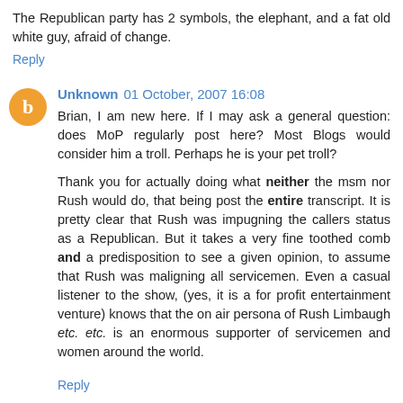The Republican party has 2 symbols, the elephant, and a fat old white guy, afraid of change.
Reply
Unknown 01 October, 2007 16:08
Brian, I am new here. If I may ask a general question: does MoP regularly post here? Most Blogs would consider him a troll. Perhaps he is your pet troll?
Thank you for actually doing what neither the msm nor Rush would do, that being post the entire transcript. It is pretty clear that Rush was impugning the callers status as a Republican. But it takes a very fine toothed comb and a predisposition to see a given opinion, to assume that Rush was maligning all servicemen. Even a casual listener to the show, (yes, it is a for profit entertainment venture) knows that the on air persona of Rush Limbaugh etc. etc. is an enormous supporter of servicemen and women around the world.
Reply